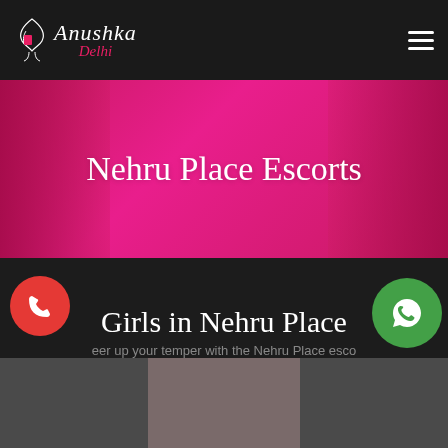Anushka Delhi
Nehru Place Escorts
Girls in Nehru Place
eer up your temper with the Nehru Place esco